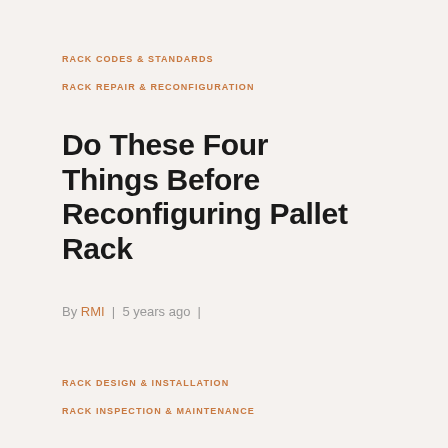RACK CODES & STANDARDS
RACK REPAIR & RECONFIGURATION
Do These Four Things Before Reconfiguring Pallet Rack
By RMI | 5 years ago |
RACK DESIGN & INSTALLATION
RACK INSPECTION & MAINTENANCE